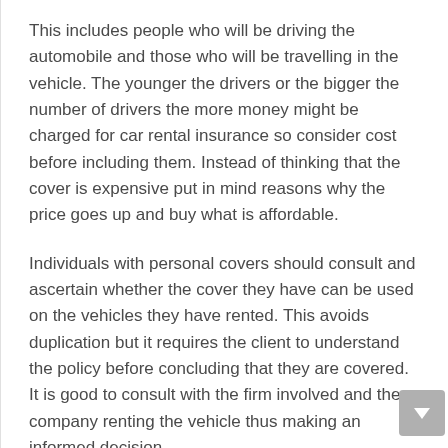This includes people who will be driving the automobile and those who will be travelling in the vehicle. The younger the drivers or the bigger the number of drivers the more money might be charged for car rental insurance so consider cost before including them. Instead of thinking that the cover is expensive put in mind reasons why the price goes up and buy what is affordable.
Individuals with personal covers should consult and ascertain whether the cover they have can be used on the vehicles they have rented. This avoids duplication but it requires the client to understand the policy before concluding that they are covered. It is good to consult with the firm involved and the company renting the vehicle thus making an informed decision.
Failure to have an adequate coverage makes the customer liable of expenses that might be incurred if the